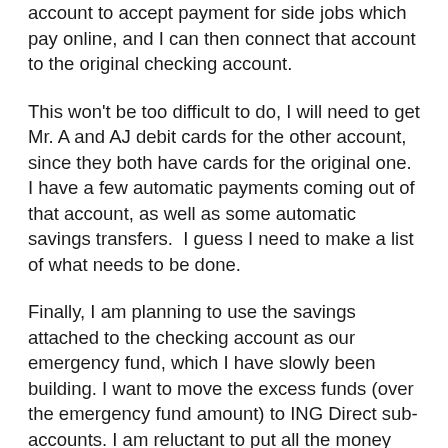account to accept payment for side jobs which pay online, and I can then connect that account to the original checking account.
This won't be too difficult to do, I will need to get Mr. A and AJ debit cards for the other account, since they both have cards for the original one.  I have a few automatic payments coming out of that account, as well as some automatic savings transfers.  I guess I need to make a list of what needs to be done.
Finally, I am planning to use the savings attached to the checking account as our emergency fund, which I have slowly been building. I want to move the excess funds (over the emergency fund amount) to ING Direct sub-accounts. I am reluctant to put all the money over at ING Direct, even though the interest is better than Wells Fargo I want to make sure I have immediate access to at least $1000 at all times.  I know it takes a couple of days for the money to